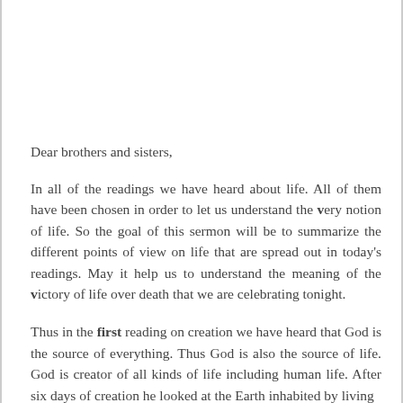Dear brothers and sisters,
In all of the readings we have heard about life. All of them have been chosen in order to let us understand the very notion of life. So the goal of this sermon will be to summarize the different points of view on life that are spread out in today's readings. May it help us to understand the meaning of the victory of life over death that we are celebrating tonight.
Thus in the first reading on creation we have heard that God is the source of everything. Thus God is also the source of life. God is creator of all kinds of life including human life. After six days of creation he looked at the Earth inhabited by living